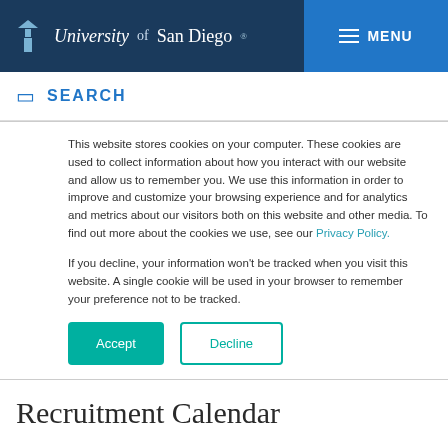University of San Diego — MENU
SEARCH
This website stores cookies on your computer. These cookies are used to collect information about how you interact with our website and allow us to remember you. We use this information in order to improve and customize your browsing experience and for analytics and metrics about our visitors both on this website and other media. To find out more about the cookies we use, see our Privacy Policy.
If you decline, your information won't be tracked when you visit this website. A single cookie will be used in your browser to remember your preference not to be tracked.
Accept   Decline
Recruitment Calendar